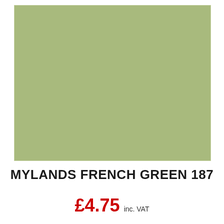[Figure (other): A solid sage/french green colour swatch rectangle]
MYLANDS FRENCH GREEN 187
£4.75 inc. VAT